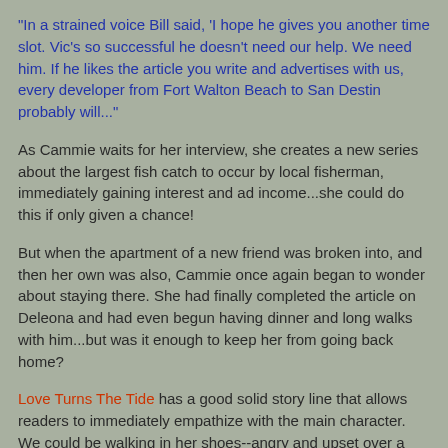"In a strained voice Bill said, 'I hope he gives you another time slot. Vic's so successful he doesn't need our help. We need him. If he likes the article you write and advertises with us, every developer from Fort Walton Beach to San Destin probably will..."
As Cammie waits for her interview, she creates a new series about the largest fish catch to occur by local fisherman, immediately gaining interest and ad income...she could do this if only given a chance!
But when the apartment of a new friend was broken into, and then her own was also, Cammie once again began to wonder about staying there. She had finally completed the article on Deleona and had even begun having dinner and long walks with him...but was it enough to keep her from going back home?
Love Turns The Tide has a good solid story line that allows readers to immediately empathize with the main character. We could be walking in her shoes--angry and upset over a